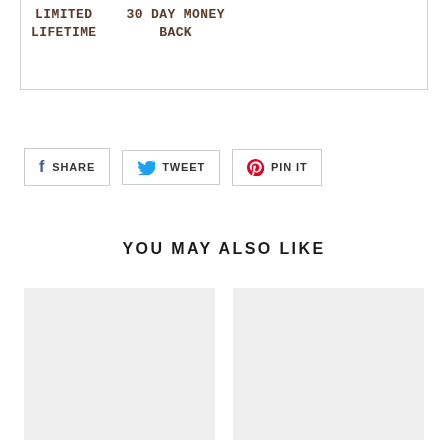LIMITED LIFETIME   30 DAY MONEY BACK
SHARE   TWEET   PIN IT
YOU MAY ALSO LIKE
[Figure (other): Two empty product card placeholders (light gray rectangles)]